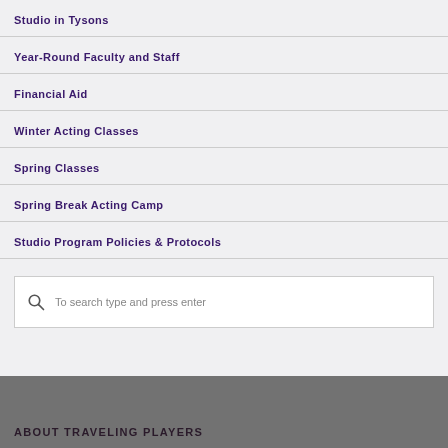Studio in Tysons
Year-Round Faculty and Staff
Financial Aid
Winter Acting Classes
Spring Classes
Spring Break Acting Camp
Studio Program Policies & Protocols
To search type and press enter
ABOUT TRAVELING PLAYERS